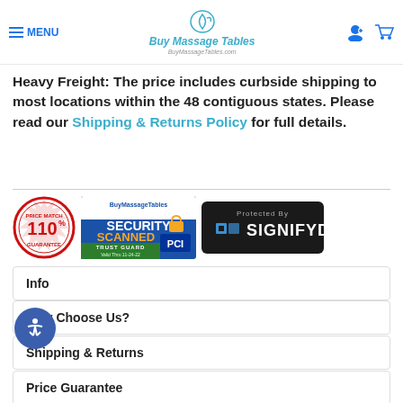≡ MENU | Buy Massage Tables | BuyMassageTables.com
Heavy Freight: The price includes curbside shipping to most locations within the 48 contiguous states. Please read our Shipping & Returns Policy for full details.
[Figure (logo): Three trust/security badge images: 110% Price Match Guarantee badge, BuyMassageTables Security Scanned Trust Guard PCI badge (Valid Thru 11-24-22), and Protected By SIGNIFYD badge]
Info
Why Choose Us?
Shipping & Returns
Price Guarantee